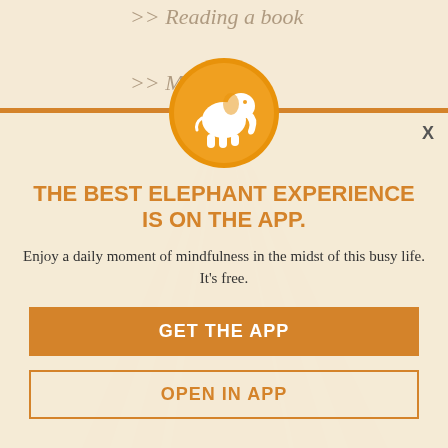>> Reading a book
>> Meditation
>> Listening to music
By doing these activities, we get out of our heads and connect to our bodies. In turn, we
ourselves on, we see the good in
life. It is all about the journey, energising
ourselves, stay present and being embodied.
Your About Elephant Journal mission:
[Figure (logo): Orange circle with white elephant silhouette icon]
THE BEST ELEPHANT EXPERIENCE IS ON THE APP.
Enjoy a daily moment of mindfulness in the midst of this busy life. It's free.
GET THE APP
OPEN IN APP